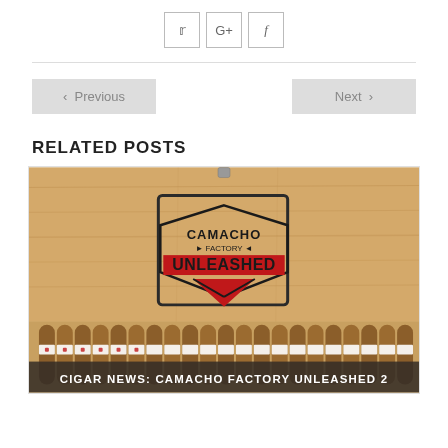[Figure (other): Social share buttons: Twitter bird icon, Google+ icon, Facebook f icon, each in square outlined buttons]
‹ Previous
Next ›
RELATED POSTS
[Figure (photo): Open cigar box with 'Camacho Factory Unleashed' logo on the lid, filled with cigars with white and red bands]
CIGAR NEWS: CAMACHO FACTORY UNLEASHED 2